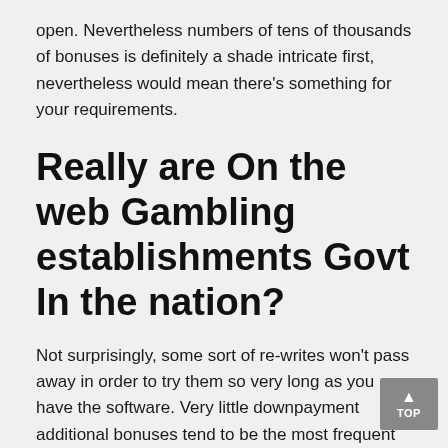open. Nevertheless numbers of tens of thousands of bonuses is definitely a shade intricate first, nevertheless would mean there's something for your requirements.
Really are On the web Gambling establishments Govt In the nation?
Not surprisingly, some sort of re-writes won't pass away in order to try them so very long as you have the software. Very little downpayment additional bonuses tend to be the most frequent bonus products amongst players. That"s as this type of advantage helps to students obtain matches a casino provides, and exactly how the latest internet casino antics and don't cause some sort of buildup of their very own funds. Thus, your on line casino might get bigger